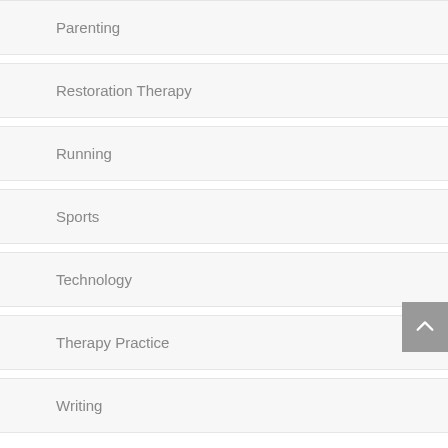Parenting
Restoration Therapy
Running
Sports
Technology
Therapy Practice
Writing
Archives